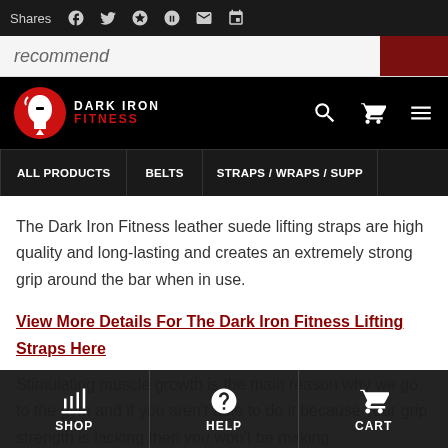Shares
recommend
[Figure (screenshot): Dark Iron Fitness website header with logo, search icon, cart icon, and hamburger menu on black background]
ALL PRODUCTS   BELTS   STRAPS / WRAPS / SUPP
The Dark Iron Fitness leather suede lifting straps are high quality and long-lasting and creates an extremely strong grip around the bar when in use.
View More Details For The Dark Iron Fitness Lifting Straps Here
Stimulating muscle growth is the main reason why we go to the gym and if you aren't able to do it because your grip strength is lacking then you won't be making
SHOP   HELP   CART